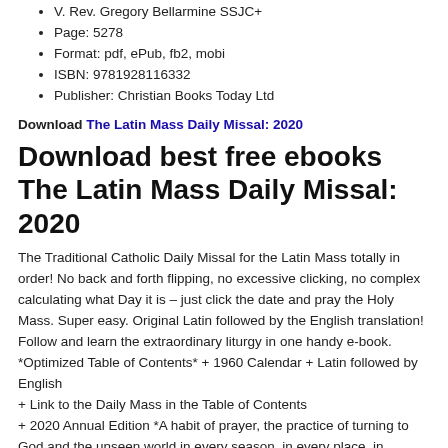V. Rev. Gregory Bellarmine SSJC+
Page: 5278
Format: pdf, ePub, fb2, mobi
ISBN: 9781928116332
Publisher: Christian Books Today Ltd
Download The Latin Mass Daily Missal: 2020
Download best free ebooks The Latin Mass Daily Missal: 2020
The Traditional Catholic Daily Missal for the Latin Mass totally in order! No back and forth flipping, no excessive clicking, no complex calculating what Day it is – just click the date and pray the Holy Mass. Super easy. Original Latin followed by the English translation! Follow and learn the extraordinary liturgy in one handy e-book. *Optimized Table of Contents* + 1960 Calendar + Latin followed by English + Link to the Daily Mass in the Table of Contents + 2020 Annual Edition *A habit of prayer, the practice of turning to God and the unseen world in every season, in every place, in